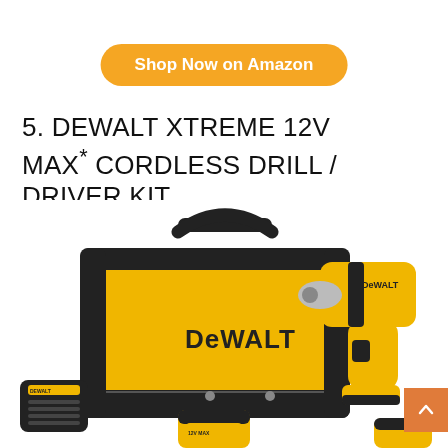Shop Now on Amazon
5. DEWALT XTREME 12V MAX* CORDLESS DRILL / DRIVER KIT
[Figure (photo): Product photo of DEWALT XTREME 12V MAX cordless drill/driver kit including a yellow and black tool bag with DEWALT branding, a compact yellow and black drill/driver, a battery charger, and two batteries.]